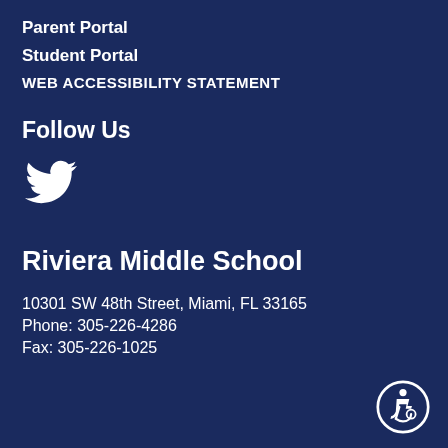Parent Portal
Student Portal
WEB ACCESSIBILITY STATEMENT
Follow Us
[Figure (logo): Twitter bird icon in white]
Riviera Middle School
10301 SW 48th Street, Miami, FL 33165
Phone: 305-226-4286
Fax: 305-226-1025
[Figure (logo): Accessibility icon badge — person in wheelchair, white on dark blue circle with border]